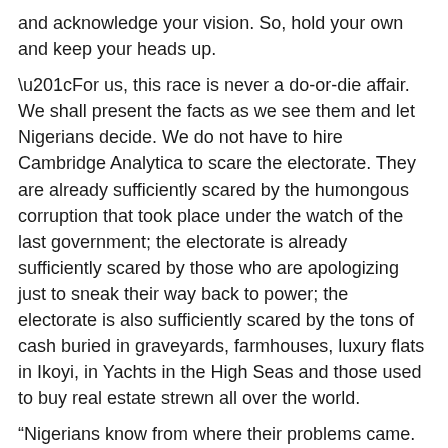and acknowledge your vision. So, hold your own and keep your heads up. “For us, this race is never a do-or-die affair. We shall present the facts as we see them and let Nigerians decide. We do not have to hire Cambridge Analytica to scare the electorate. They are already sufficiently scared by the humongous corruption that took place under the watch of the last government; the electorate is already sufficiently scared by those who are apologizing just to sneak their way back to power; the electorate is also sufficiently scared by the tons of cash buried in graveyards, farmhouses, luxury flats in Ikoyi, in Yachts in the High Seas and those used to buy real estate strewn all over the world. “Nigerians know from where their problems came. They know it is not President Buhari. They know it came from some of those battling tooth and nail to displace him. Those who are persuaded by us should not remain aloof, please. Kindly join us in this journey.”